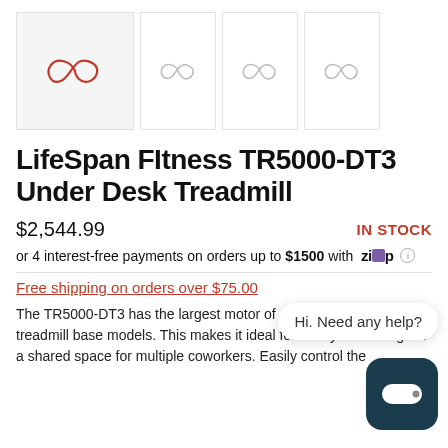[Figure (illustration): Four product thumbnail images with infinity loop icons — one larger highlighted main thumbnail and three smaller thumbnails]
LifeSpan FItness TR5000-DT3 Under Desk Treadmill
$2,544.99   IN STOCK
or 4 interest-free payments on orders up to $1500 with Zip ℹ
Free shipping on orders over $75.00
The TR5000-DT3 has the largest motor of all the LifeSpan treadmill base models. This makes it ideal for heavy individual usage or a shared space for multiple coworkers. Easily control the